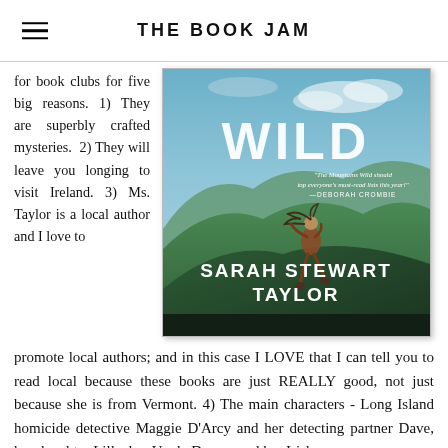THE BOOK JAM
for book clubs for five big reasons. 1) They are superbly crafted mysteries. 2) They will leave you longing to visit Ireland. 3) Ms. Taylor is a local author and I love to promote local authors; and in this case I LOVE that I can tell you to read local because these books are just REALLY good, not just because she is from Vermont. 4) The main characters - Long Island homicide detective Maggie D'Arcy and her detecting partner Dave, her daughter Lilly, her Uncle Danny, and her Irish
[Figure (photo): Book cover for 'The Mountains Wild' by Sarah Stewart Taylor. Shows a woman running across green Irish hills under a dramatic sky. Text reads: WILD, 'The Mountains Wild should top everyone's must-read lists this year!' —DEBORAH CROMBIE, SARAH STEWART TAYLOR]